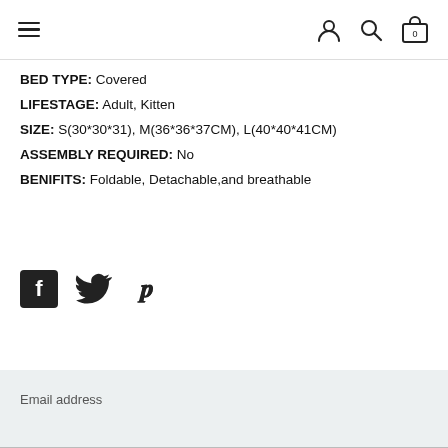Navigation header with hamburger menu and icons for user, search, and cart (0)
BED TYPE: Covered
LIFESTAGE: Adult, Kitten
SIZE: S(30*30*31), M(36*36*37CM), L(40*40*41CM)
ASSEMBLY REQUIRED: No
BENIFITS: Foldable, Detachable,and breathable
[Figure (other): Social media share icons: Facebook, Twitter, Pinterest]
Email address